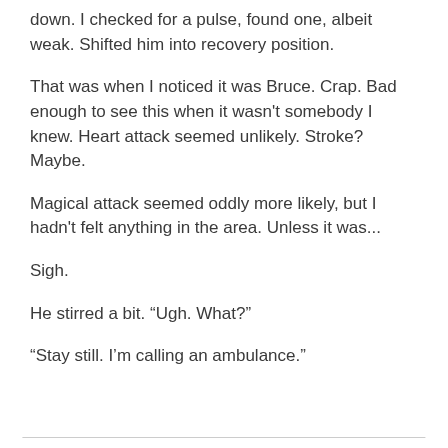down. I checked for a pulse, found one, albeit weak. Shifted him into recovery position.
That was when I noticed it was Bruce. Crap. Bad enough to see this when it wasn't somebody I knew. Heart attack seemed unlikely. Stroke? Maybe.
Magical attack seemed oddly more likely, but I hadn't felt anything in the area. Unless it was...
Sigh.
He stirred a bit. “Ugh. What?”
“Stay still. I’m calling an ambulance.”